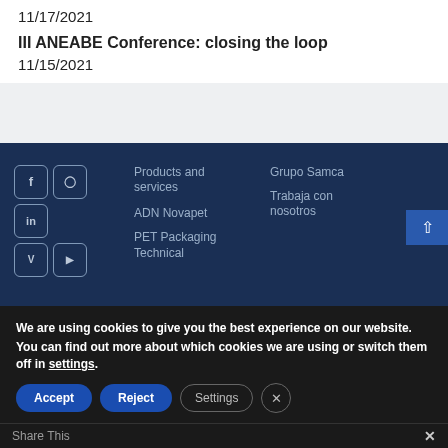11/17/2021
III ANEABE Conference: closing the loop
11/15/2021
Products and services | ADN Novapet | PET Packaging Technical | Grupo Samca | Trabaja con nosotros
We are using cookies to give you the best experience on our website.
You can find out more about which cookies we are using or switch them off in settings.
Accept  Reject  Settings
Share This